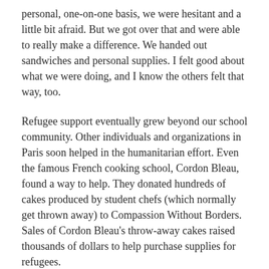personal, one-on-one basis, we were hesitant and a little bit afraid. But we got over that and were able to really make a difference. We handed out sandwiches and personal supplies. I felt good about what we were doing, and I know the others felt that way, too.
Refugee support eventually grew beyond our school community. Other individuals and organizations in Paris soon helped in the humanitarian effort. Even the famous French cooking school, Cordon Bleau, found a way to help. They donated hundreds of cakes produced by student chefs (which normally get thrown away) to Compassion Without Borders. Sales of Cordon Bleau's throw-away cakes raised thousands of dollars to help purchase supplies for refugees.
There are opportunities to help refugees all around